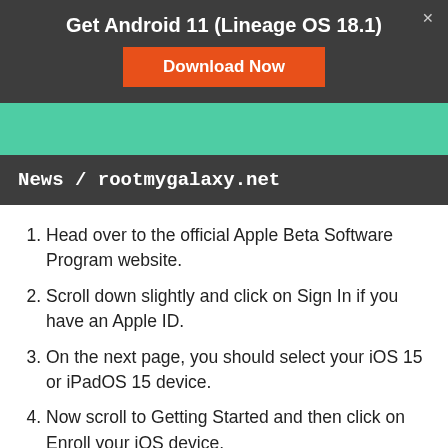Get Android 11 (Lineage OS 18.1)
[Figure (screenshot): Download Now button (orange/red background, white text) inside a dark banner]
News / rootmygalaxy.net
Head over to the official Apple Beta Software Program website.
Scroll down slightly and click on Sign In if you have an Apple ID.
On the next page, you should select your iOS 15 or iPadOS 15 device.
Now scroll to Getting Started and then click on Enroll your iOS device.
Then, you'll need to install a profile from the next